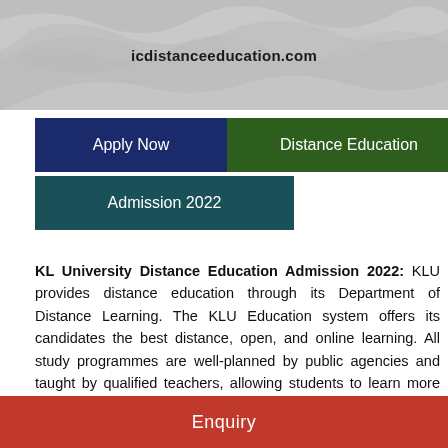icdistanceeducation.com
Apply Now
Distance Education
Admission 2022
KL University Distance Education Admission 2022: KLU provides distance education through its Department of Distance Learning. The KLU Education system offers its candidates the best distance, open, and online learning. All study programmes are well-planned by public agencies and taught by qualified teachers, allowing students to learn more flexibly and interestingly. KL University offers a variety of distance study programmes at all levels.
Enquiry